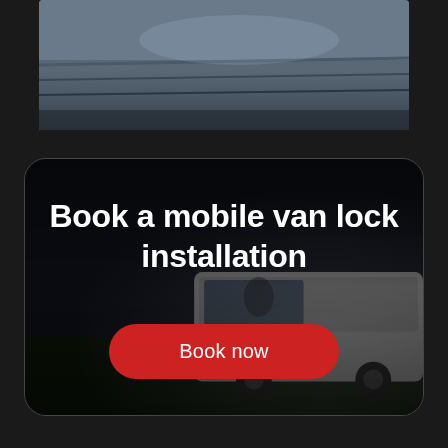[Figure (photo): Close-up photo of a vehicle door or panel in dark grey/silver, partially cropped at top]
[Figure (infographic): Dark-toned card with a blurred background showing a white van parked outdoors, overlaid with bold white text reading 'Book a mobile van lock installation' and a red 'Book now' button]
Book a mobile van lock installation
Book now